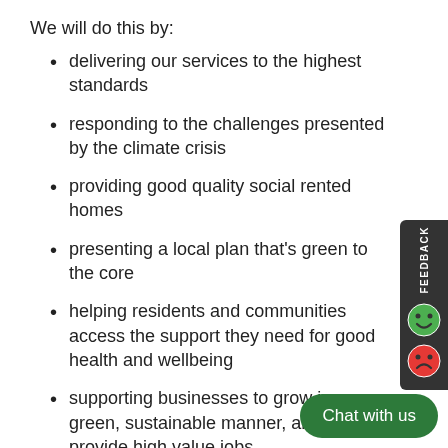We will do this by:
delivering our services to the highest standards
responding to the challenges presented by the climate crisis
providing good quality social rented homes
presenting a local plan that's green to the core
helping residents and communities access the support they need for good health and wellbeing
supporting businesses to grow in a green, sustainable manner, and to provide high value jobs
Our principles
Everything we do will be built on the
rebuilding trust and confidence in the council by